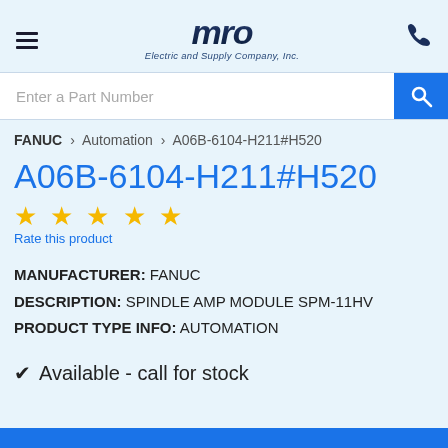MRO Electric and Supply Company, Inc.
Enter a Part Number
FANUC > Automation > A06B-6104-H211#H520
A06B-6104-H211#H520
★★★★★ Rate this product
MANUFACTURER: FANUC
DESCRIPTION: SPINDLE AMP MODULE SPM-11HV
PRODUCT TYPE INFO: AUTOMATION
✔ Available - call for stock